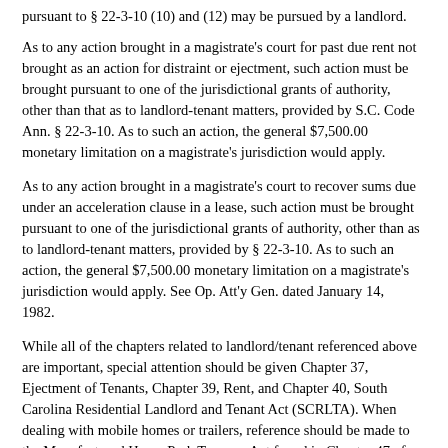pursuant to § 22-3-10 (10) and (12) may be pursued by a landlord.
As to any action brought in a magistrate's court for past due rent not brought as an action for distraint or ejectment, such action must be brought pursuant to one of the jurisdictional grants of authority, other than that as to landlord-tenant matters, provided by S.C. Code Ann. § 22-3-10. As to such an action, the general $7,500.00 monetary limitation on a magistrate's jurisdiction would apply.
As to any action brought in a magistrate's court to recover sums due under an acceleration clause in a lease, such action must be brought pursuant to one of the jurisdictional grants of authority, other than as to landlord-tenant matters, provided by § 22-3-10. As to such an action, the general $7,500.00 monetary limitation on a magistrate's jurisdiction would apply. See Op. Att'y Gen. dated January 14, 1982.
While all of the chapters related to landlord/tenant referenced above are important, special attention should be given Chapter 37, Ejectment of Tenants, Chapter 39, Rent, and Chapter 40, South Carolina Residential Landlord and Tenant Act (SCRLTA). When dealing with mobile homes or trailers, reference should be made to the Manufactured Home Park Tenancy Act found in Chapter 47 of Title 27 of the Code.
3. Eviction or Ejectment